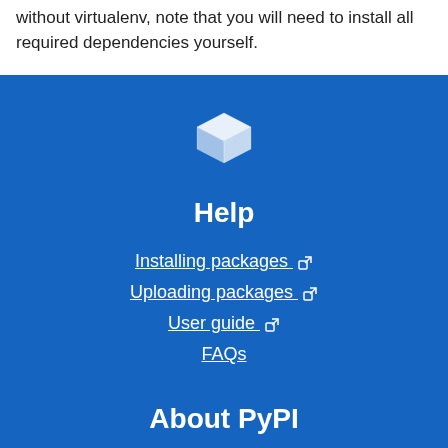without virtualenv, note that you will need to install all required dependencies yourself.
[Figure (logo): PyPI box/cube logo icon in white on blue background]
Help
Installing packages ↗
Uploading packages ↗
User guide ↗
FAQs
About PyPI